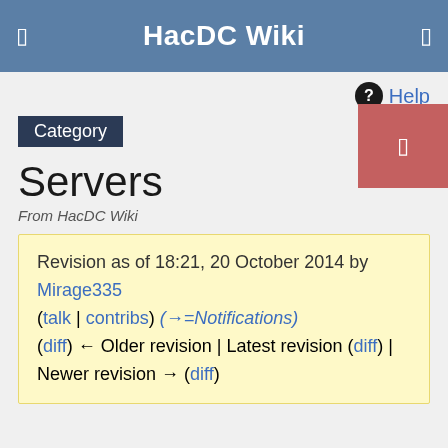HacDC Wiki
Help
Category
Servers
From HacDC Wiki
Revision as of 18:21, 20 October 2014 by Mirage335 (talk | contribs) (→=Notifications)
(diff) ← Older revision | Latest revision (diff) | Newer revision → (diff)
Contents